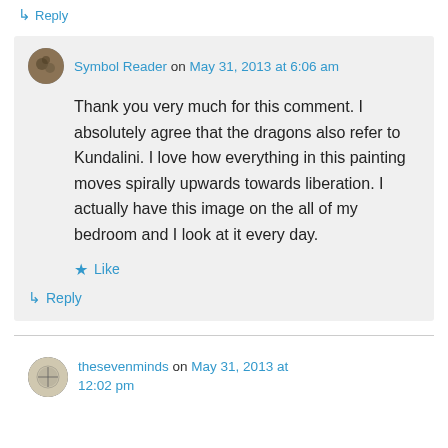↳ Reply
Symbol Reader on May 31, 2013 at 6:06 am
Thank you very much for this comment. I absolutely agree that the dragons also refer to Kundalini. I love how everything in this painting moves spirally upwards towards liberation. I actually have this image on the all of my bedroom and I look at it every day.
★ Like
↳ Reply
thesevenminds on May 31, 2013 at 12:02 pm